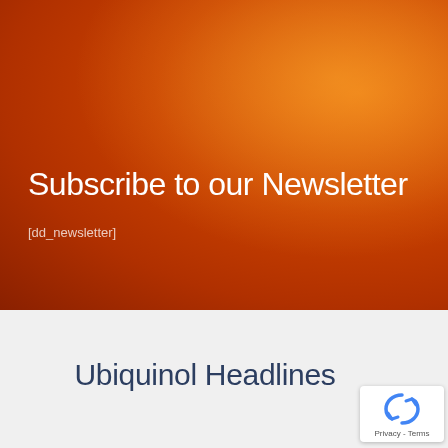[Figure (photo): Orange-red gradient hero banner background resembling a sunset sky]
Subscribe to our Newsletter
[dd_newsletter]
Ubiquinol Headlines
[Figure (logo): reCAPTCHA badge with spinning arrows icon and Privacy - Terms text]